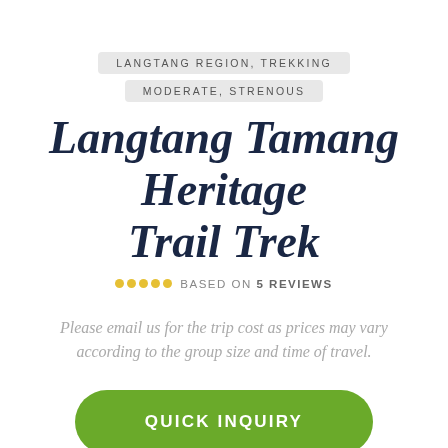LANGTANG REGION, TREKKING
MODERATE, STRENOUS
Langtang Tamang Heritage Trail Trek
BASED ON 5 REVIEWS
Please email us for the trip cost as prices may vary according to the group size and time of travel.
QUICK INQUIRY